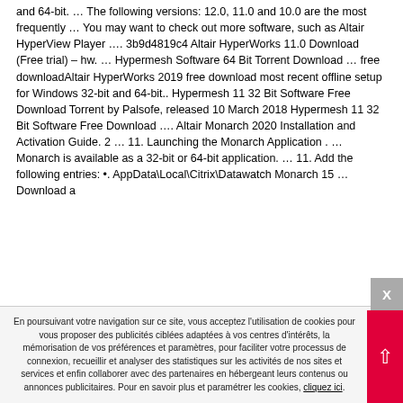and 64-bit. … The following versions: 12.0, 11.0 and 10.0 are the most frequently … You may want to check out more software, such as Altair HyperView Player …. 3b9d4819c4 Altair HyperWorks 11.0 Download (Free trial) – hw. … Hypermesh Software 64 Bit Torrent Download … free downloadAltair HyperWorks 2019 free download most recent offline setup for Windows 32-bit and 64-bit.. Hypermesh 11 32 Bit Software Free Download Torrent by Palsofe, released 10 March 2018 Hypermesh 11 32 Bit Software Free Download …. Altair Monarch 2020 Installation and Activation Guide. 2 … 11. Launching the Monarch Application . … Monarch is available as a 32-bit or 64-bit application. … 11. Add the following entries: •. AppData\Local\Citrix\Datawatch Monarch 15 … Download a
En poursuivant votre navigation sur ce site, vous acceptez l'utilisation de cookies pour vous proposer des publicités ciblées adaptées à vos centres d'intérêts, la mémorisation de vos préférences et paramètres, pour faciliter votre processus de connexion, recueillir et analyser des statistiques sur les activités de nos sites et services et enfin collaborer avec des partenaires en hébergeant leurs contenus ou annonces publicitaires. Pour en savoir plus et paramétrer les cookies, cliquez ici.